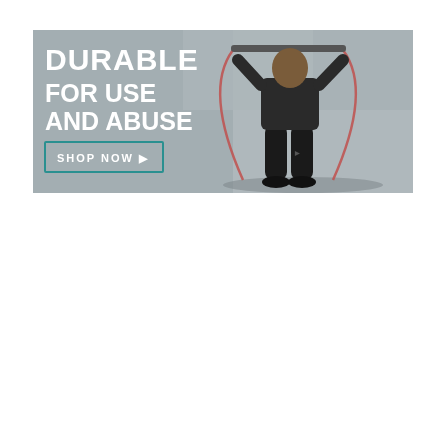[Figure (illustration): Fitness advertisement banner showing a muscular male athlete in black leggings using resistance bands/cables against a gray concrete wall background. Bold white text on the left reads 'DURABLE FOR USE AND ABUSE' with a teal-bordered 'SHOP NOW ▶' button below.]